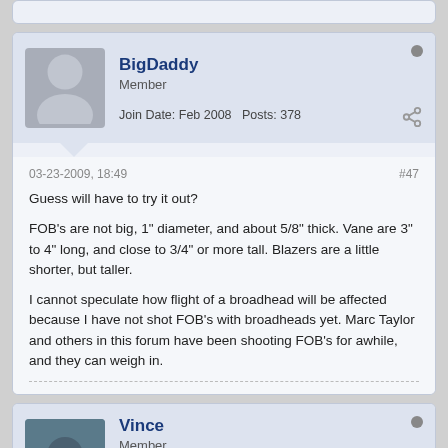[Figure (screenshot): Top of a forum post card, partially visible (stub)]
BigDaddy
Member
Join Date: Feb 2008   Posts: 378
03-23-2009, 18:49
#47
Guess will have to try it out?

FOB's are not big, 1" diameter, and about 5/8" thick. Vane are 3" to 4" long, and close to 3/4" or more tall. Blazers are a little shorter, but taller.

I cannot speculate how flight of a broadhead will be affected because I have not shot FOB's with broadheads yet. Marc Taylor and others in this forum have been shooting FOB's for awhile, and they can weigh in.
Vince
Member
Join Date: Jul 2008   Posts: 8987